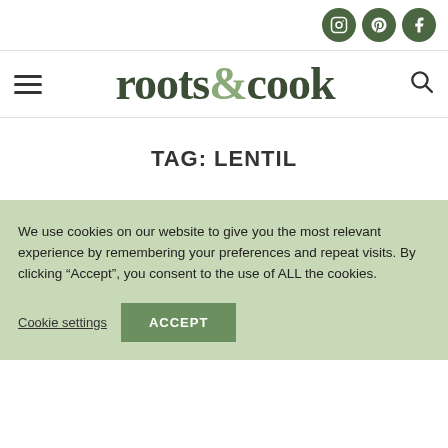roots&cook — social icons (Instagram, Pinterest, Facebook)
[Figure (logo): roots&cook website logo with hamburger menu and search icon]
TAG: LENTIL
We use cookies on our website to give you the most relevant experience by remembering your preferences and repeat visits. By clicking “Accept”, you consent to the use of ALL the cookies.
Cookie settings | ACCEPT